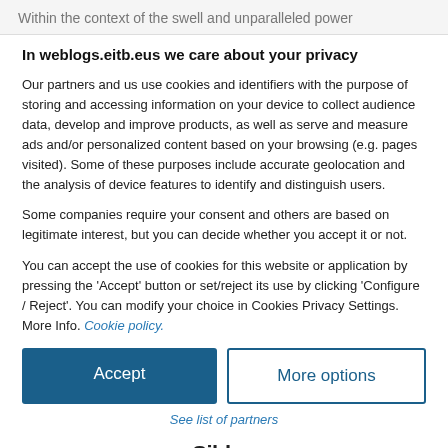Within the context of the swell and unparalleled power
In weblogs.eitb.eus we care about your privacy
Our partners and us use cookies and identifiers with the purpose of storing and accessing information on your device to collect audience data, develop and improve products, as well as serve and measure ads and/or personalized content based on your browsing (e.g. pages visited). Some of these purposes include accurate geolocation and the analysis of device features to identify and distinguish users.
Some companies require your consent and others are based on legitimate interest, but you can decide whether you accept it or not.
You can accept the use of cookies for this website or application by pressing the 'Accept' button or set/reject its use by clicking 'Configure / Reject'. You can modify your choice in Cookies Privacy Settings. More Info. Cookie policy.
Accept
More options
See list of partners
[Figure (logo): Sibbo logo with purple dot]
ver 125.38